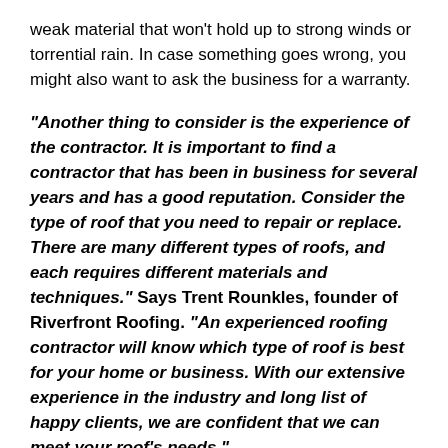weak material that won't hold up to strong winds or torrential rain. In case something goes wrong, you might also want to ask the business for a warranty.
“Another thing to consider is the experience of the contractor. It is important to find a contractor that has been in business for several years and has a good reputation. Consider the type of roof that you need to repair or replace. There are many different types of roofs, and each requires different materials and techniques.” Says Trent Rounkles, founder of Riverfront Roofing. “An experienced roofing contractor will know which type of roof is best for your home or business. With our extensive experience in the industry and long list of happy clients, we are confident that we can meet your roof’s needs.”
Following these tips will help ensure that you find a qualified